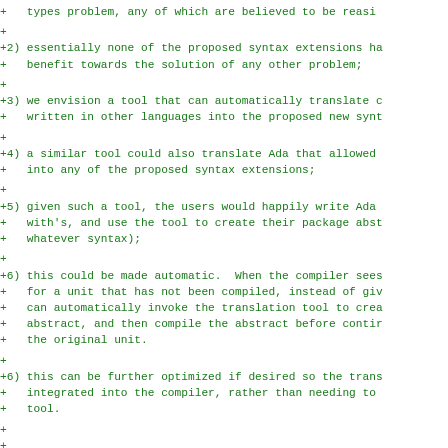+   types problem, any of which are believed to be reasi
+
+2) essentially none of the proposed syntax extensions ha
+   benefit towards the solution of any other problem;
+
+3) we envision a tool that can automatically translate c
+   written in other languages into the proposed new synt
+
+4) a similar tool could also translate Ada that allowed
+   into any of the proposed syntax extensions;
+
+5) given such a tool, the users would happily write Ada
+   with's, and use the tool to create their package abst
+   whatever syntax);
+
+6) this could be made automatic.  When the compiler sees
+   for a unit that has not been compiled, instead of giv
+   can automatically invoke the translation tool to crea
+   abstract, and then compile the abstract before contir
+   the original unit.
+
+6) this can be further optimized if desired so the trans
+   integrated into the compiler, rather than needing to
+   tool.
+
+
+Notes:
+
+Recursive subprogram calls don't use different syntax th
+ones, so ideally recursive with's wouldn't either.
+